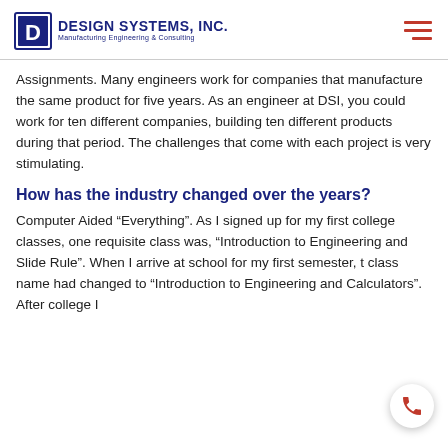DESIGN SYSTEMS, INC. Manufacturing Engineering & Consulting
Assignments. Many engineers work for companies that manufacture the same product for five years. As an engineer at DSI, you could work for ten different companies, building ten different products during that period. The challenges that come with each project is very stimulating.
How has the industry changed over the years?
Computer Aided “Everything”. As I signed up for my first college classes, one requisite class was, “Introduction to Engineering and Slide Rule”. When I arrive at school for my first semester, the class name had changed to “Introduction to Engineering and Calculators”. After college I